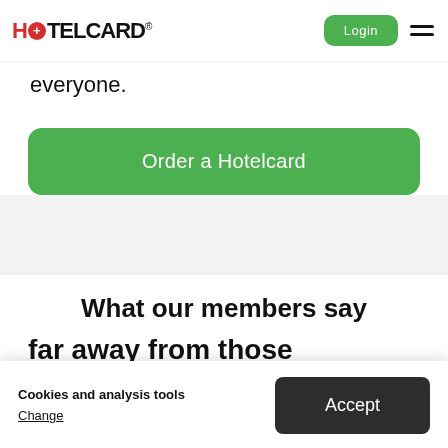HOTELCARD Login
everyone.
Order a Hotelcard
What our members say
Cookies and analysis tools
Change
Accept
far away from those...